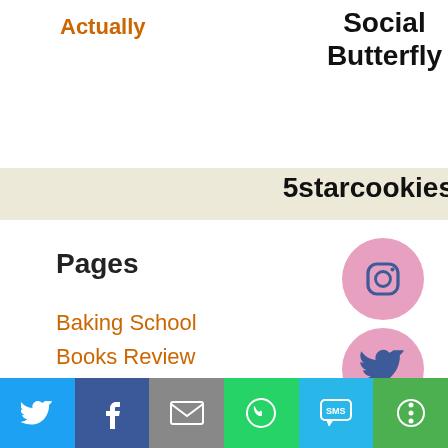Actually
Social Butterfly
5starcookies
Pages
Baking School
Books Review
Children Corner
Desserts
Health
[Figure (illustration): Instagram icon in pink circle]
[Figure (illustration): Twitter bird icon in pink circle]
[Figure (illustration): Pinterest icon in pink circle]
This website uses cookies to improve your experience. We'll assume you're ok with this, but you can opt-out if
[Figure (infographic): Share bar with Twitter, Facebook, Email, WhatsApp, SMS, More buttons]